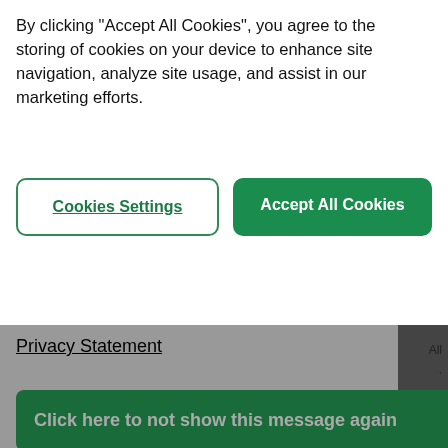By clicking “Accept All Cookies”, you agree to the storing of cookies on your device to enhance site navigation, analyze site usage, and assist in our marketing efforts.
Cookies Settings
Accept All Cookies
Privacy Statement
Click here to not show this message again
1. PLATESENSE plate production
2. CTP equipment rental
3. CTP equipment swap-out
4. Workflow upgrade